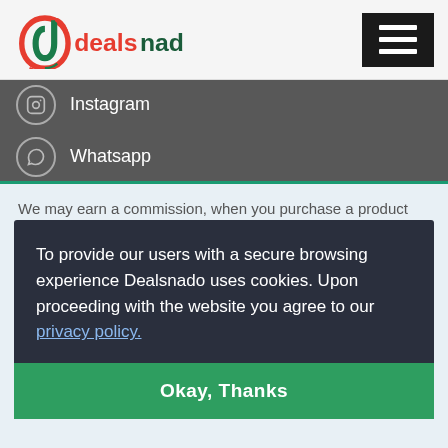Dealsnado
Instagram
Whatsapp
We may earn a commission, when you purchase a product
Disclaimer ... Any ... up...
To provide our users with a secure browsing experience Dealsnado uses cookies. Upon proceeding with the website you agree to our privacy policy.
Okay, Thanks
Coupon is invalid and is not modified in any part of website is